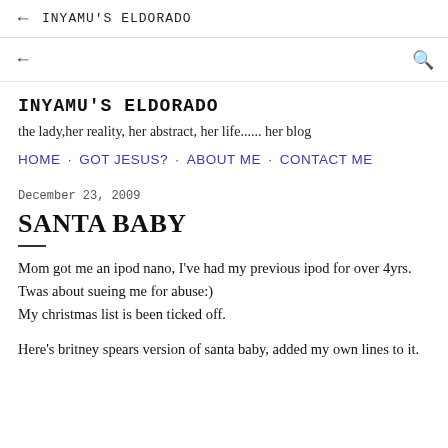← INYAMU's ELDORADO
← [search icon]
INYAMU's ELDORADO
the lady,her reality, her abstract, her life...... her blog
HOME · GOT JESUS? · ABOUT ME · CONTACT ME
December 23, 2009
SANTA BABY
Mom got me an ipod nano, I've had my previous ipod for over 4yrs. Twas about sueing me for abuse:)
My christmas list is been ticked off.

Here's britney spears version of santa baby, added my own lines to it.